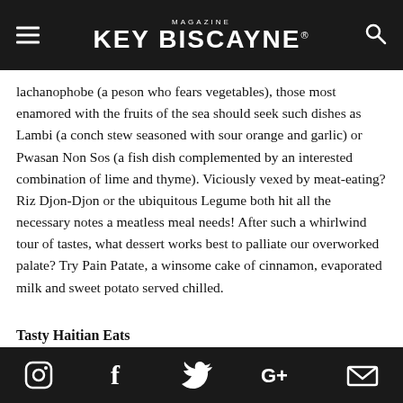KEY BISCAYNE MAGAZINE
lachanophobe (a peson who fears vegetables), those most enamored with the fruits of the sea should seek such dishes as Lambi (a conch stew seasoned with sour orange and garlic) or Pwasan Non Sos (a fish dish complemented by an interested combination of lime and thyme). Viciously vexed by meat-eating? Riz Djon-Djon or the ubiquitous Legume both hit all the necessary notes a meatless meal needs! After such a whirlwind tour of tastes, what dessert works best to palliate our overworked palate? Try Pain Patate, a winsome cake of cinnamon, evaporated milk and sweet potato served chilled.
Tasty Haitian Eats
Piman Bouk: Utterly unpretentious and mouthwatering to...
Social media icons: Instagram, Facebook, Twitter, Google+, Email